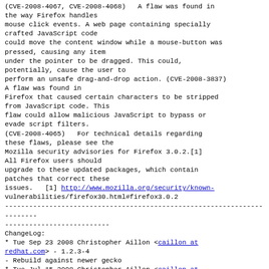(CVE-2008-4067, CVE-2008-4068)   A flaw was found in the way Firefox handles mouse click events. A web page containing specially crafted JavaScript code could move the content window while a mouse-button was pressed, causing any item under the pointer to be dragged. This could, potentially, cause the user to perform an unsafe drag-and-drop action. (CVE-2008-3837) A flaw was found in Firefox that caused certain characters to be stripped from JavaScript code. This flaw could allow malicious JavaScript to bypass or evade script filters. (CVE-2008-4065)   For technical details regarding these flaws, please see the Mozilla security advisories for Firefox 3.0.2.[1] All Firefox users should upgrade to these updated packages, which contain patches that correct these issues.   [1] http://www.mozilla.org/security/known-vulnerabilities/firefox30.html#firefox3.0.2
--------------------------------------------------------------------------------
--------------------------
ChangeLog:
* Tue Sep 23 2008 Christopher Aillon <caillon at redhat.com> - 1.2.3-4
- Rebuild against newer gecko
* Tue Jul 15 2008 Christopher Aillon <caillon at